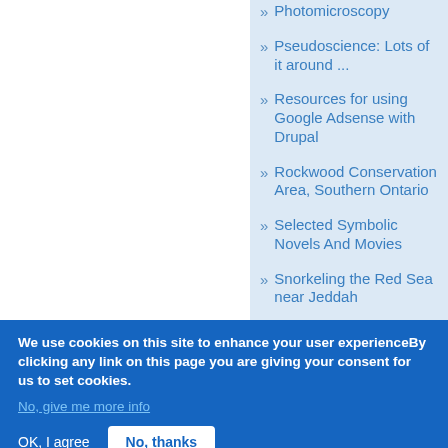Photomicroscopy
Pseudoscience: Lots of it around ...
Resources for using Google Adsense with Drupal
Rockwood Conservation Area, Southern Ontario
Selected Symbolic Novels And Movies
Snorkeling the Red Sea near Jeddah
We use cookies on this site to enhance your user experienceBy clicking any link on this page you are giving your consent for us to set cookies.
No, give me more info
OK, I agree
No, thanks